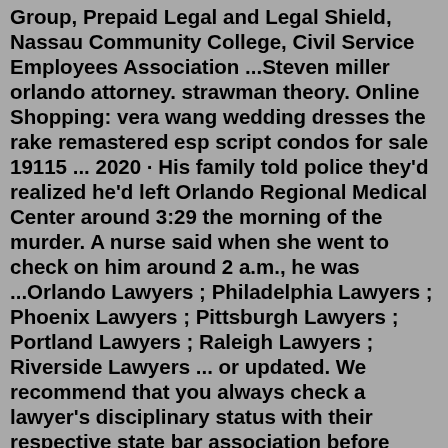Group, Prepaid Legal and Legal Shield, Nassau Community College, Civil Service Employees Association ...Steven miller orlando attorney. strawman theory. Online Shopping: vera wang wedding dresses the rake remastered esp script condos for sale 19115 ... 2020 · His family told police they'd realized he'd left Orlando Regional Medical Center around 3:29 the morning of the murder. A nurse said when she went to check on him around 2 a.m., he was ...Orlando Lawyers ; Philadelphia Lawyers ; Phoenix Lawyers ; Pittsburgh Lawyers ; Portland Lawyers ; Raleigh Lawyers ; Riverside Lawyers ... or updated. We recommend that you always check a lawyer's disciplinary status with their respective state bar association before hiring them. Avvo Rating levels. 10.0 - 9.0 Superb; 8.9 - 8.0 Excellent; 7.9 ...Steven miller orlando attorney Martin Law Firm, P.L. has been representing clients throughout Southwest Florida for over fifteen years. Managed by the husband and wife team of Steven & Exiana Martin—we have helped thousands with